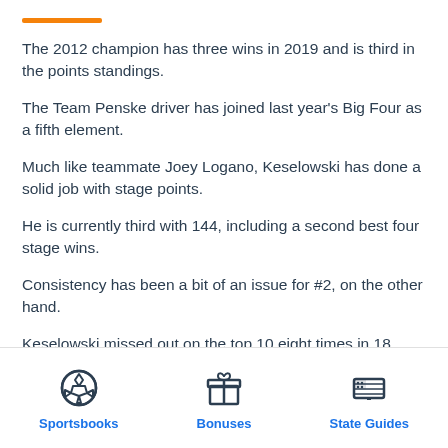The 2012 champion has three wins in 2019 and is third in the points standings.
The Team Penske driver has joined last year's Big Four as a fifth element.
Much like teammate Joey Logano, Keselowski has done a solid job with stage points.
He is currently third with 144, including a second best four stage wins.
Consistency has been a bit of an issue for #2, on the other hand.
Keselowski missed out on the top 10 eight times in 18
Sportsbooks   Bonuses   State Guides